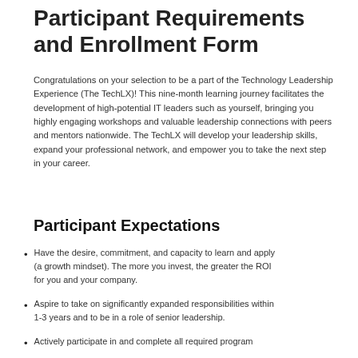Participant Requirements and Enrollment Form
Congratulations on your selection to be a part of the Technology Leadership Experience (The TechLX)! This nine-month learning journey facilitates the development of high-potential IT leaders such as yourself, bringing you highly engaging workshops and valuable leadership connections with peers and mentors nationwide. The TechLX will develop your leadership skills, expand your professional network, and empower you to take the next step in your career.
Participant Expectations
Have the desire, commitment, and capacity to learn and apply (a growth mindset). The more you invest, the greater the ROI for you and your company.
Aspire to take on significantly expanded responsibilities within 1-3 years and to be in a role of senior leadership.
Actively participate in and complete all required program